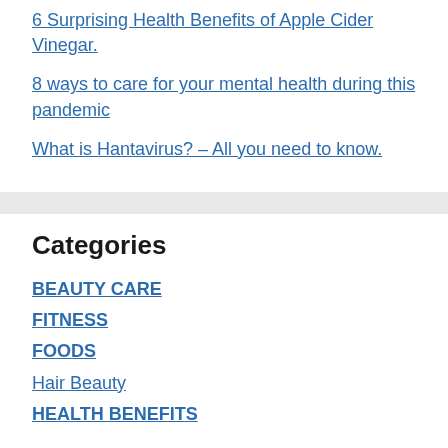6 Surprising Health Benefits of Apple Cider Vinegar.
8 ways to care for your mental health during this pandemic
What is Hantavirus? – All you need to know.
Categories
BEAUTY CARE
FITNESS
FOODS
Hair Beauty
HEALTH BENEFITS